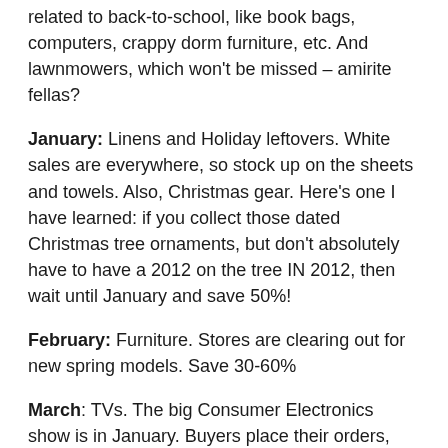related to back-to-school, like book bags, computers, crappy dorm furniture, etc. And lawnmowers, which won't be missed – amirite fellas?
January: Linens and Holiday leftovers. White sales are everywhere, so stock up on the sheets and towels. Also, Christmas gear. Here's one I have learned: if you collect those dated Christmas tree ornaments, but don't absolutely have to have a 2012 on the tree IN 2012, then wait until January and save 50%!
February: Furniture. Stores are clearing out for new spring models. Save 30-60%
March: TVs. The big Consumer Electronics show is in January. Buyers place their orders, and they land in stores in March. So the shabby old 1080p flatscreens have to go to make room for the shiny new 1080p flatscreens! Save 15%